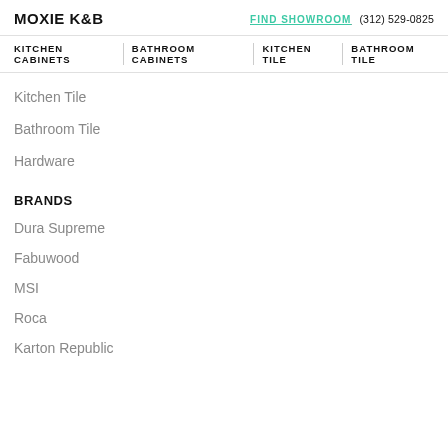MOXIE K&B  FIND SHOWROOM  (312) 529-0825
KITCHEN CABINETS  BATHROOM CABINETS  KITCHEN TILE  BATHROOM TILE
Kitchen Tile
Bathroom Tile
Hardware
BRANDS
Dura Supreme
Fabuwood
MSI
Roca
Karton Republic